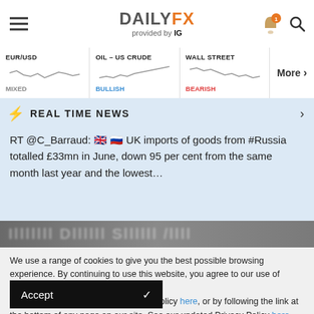DAILYFX provided by IG
[Figure (continuous-plot): EUR/USD mini sparkline chart, MIXED sentiment]
[Figure (continuous-plot): OIL - US CRUDE mini sparkline chart, BULLISH sentiment]
[Figure (continuous-plot): WALL STREET mini sparkline chart, BEARISH sentiment]
REAL TIME NEWS
RT @C_Barraud: 🇬🇧 🇷🇺 UK imports of goods from #Russia totalled £33mn in June, down 95 per cent from the same month last year and the lowest...
We use a range of cookies to give you the best possible browsing experience. By continuing to use this website, you agree to our use of cookies.
You can learn more about our cookie policy here, or by following the link at the bottom of any page on our site. See our updated Privacy Policy here.